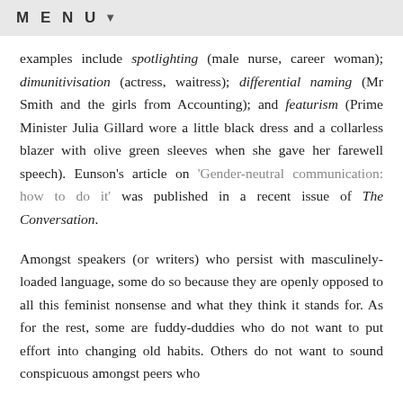MENU ▼
examples include spotlighting (male nurse, career woman); dimunitivisation (actress, waitress); differential naming (Mr Smith and the girls from Accounting); and featurism (Prime Minister Julia Gillard wore a little black dress and a collarless blazer with olive green sleeves when she gave her farewell speech). Eunson's article on 'Gender-neutral communication: how to do it' was published in a recent issue of The Conversation.
Amongst speakers (or writers) who persist with masculinely-loaded language, some do so because they are openly opposed to all this feminist nonsense and what they think it stands for. As for the rest, some are fuddy-duddies who do not want to put effort into changing old habits. Others do not want to sound conspicuous amongst peers who